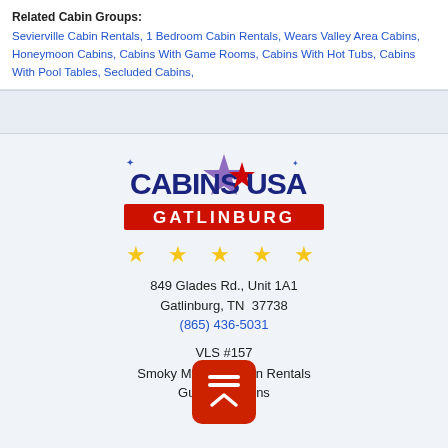Related Cabin Groups:
Sevierville Cabin Rentals, 1 Bedroom Cabin Rentals, Wears Valley Area Cabins, Honeymoon Cabins, Cabins With Game Rooms, Cabins With Hot Tubs, Cabins With Pool Tables, Secluded Cabins,
[Figure (logo): Cabins USA Gatlinburg logo with stars and red banner]
★ ★ ★ ★ ★
849 Glades Rd., Unit 1A1
Gatlinburg, TN  37738
(865) 436-5031
VLS #157
Smoky Mountain Cabin Rentals
Guest...